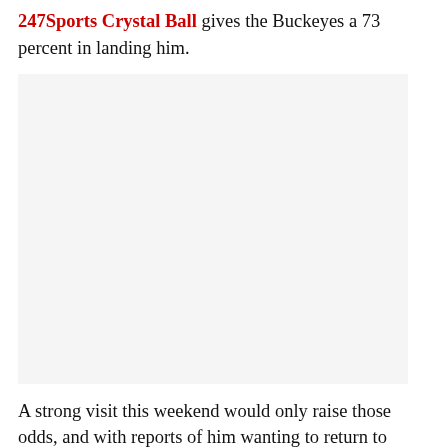247Sports Crystal Ball gives the Buckeyes a 73 percent in landing him.
[Figure (photo): A large image placeholder (appears blank/light gray) embedded in the article body.]
A strong visit this weekend would only raise those odds, and with reports of him wanting to return to Columbus for a week before their visit on April